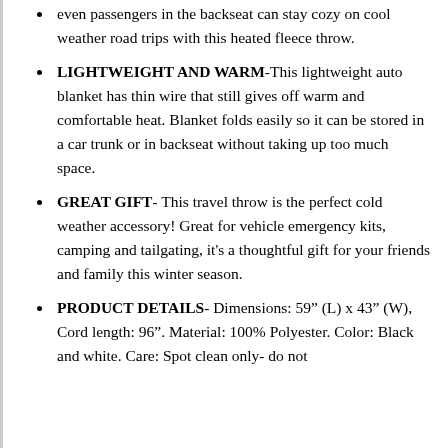even passengers in the backseat can stay cozy on cool weather road trips with this heated fleece throw.
LIGHTWEIGHT AND WARM-This lightweight auto blanket has thin wire that still gives off warm and comfortable heat. Blanket folds easily so it can be stored in a car trunk or in backseat without taking up too much space.
GREAT GIFT- This travel throw is the perfect cold weather accessory! Great for vehicle emergency kits, camping and tailgating, it's a thoughtful gift for your friends and family this winter season.
PRODUCT DETAILS- Dimensions: 59” (L) x 43” (W), Cord length: 96”. Material: 100% Polyester. Color: Black and white. Care: Spot clean only- do not